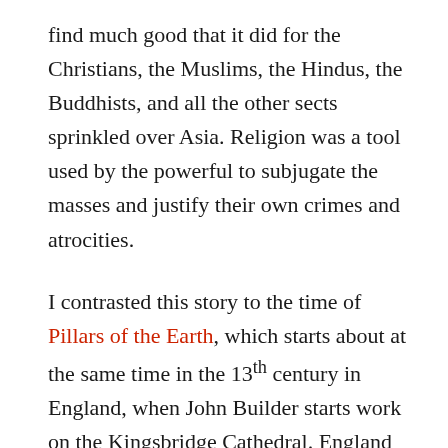find much good that it did for the Christians, the Muslims, the Hindus, the Buddhists, and all the other sects sprinkled over Asia. Religion was a tool used by the powerful to subjugate the masses and justify their own crimes and atrocities.
I contrasted this story to the time of Pillars of the Earth, which starts about at the same time in the 13th century in England, when John Builder starts work on the Kingsbridge Cathedral. England seems like an odd little island off the edge of the world, as seen from the perspective of the Great Khan and Marco Polo. I also learned about how trade was conducted. How did one finance a trip of three years one way? How did one deal with the profits? You could not very well carry a bag of